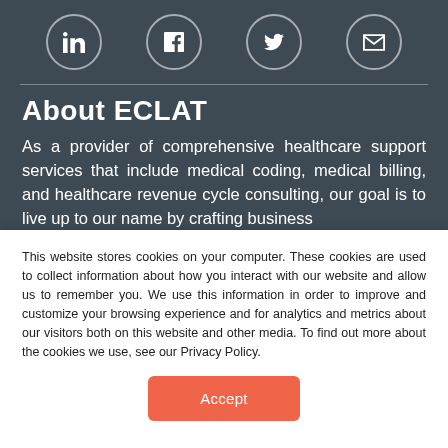[Figure (other): Social media icons row: LinkedIn, Facebook, Twitter, Email — white icons inside circular borders on dark background]
About ECLAT
As a provider of comprehensive healthcare support services that include medical coding, medical billing, and healthcare revenue cycle consulting, our goal is to live up to our name by crafting business
This website stores cookies on your computer. These cookies are used to collect information about how you interact with our website and allow us to remember you. We use this information in order to improve and customize your browsing experience and for analytics and metrics about our visitors both on this website and other media. To find out more about the cookies we use, see our Privacy Policy.
Accept